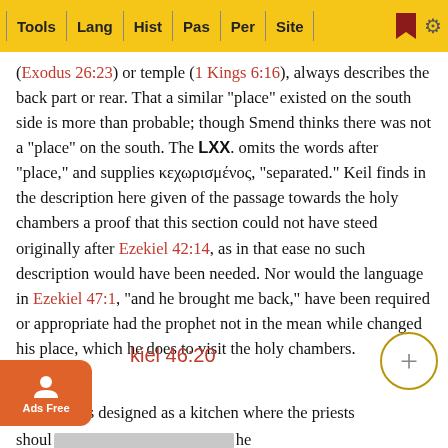Tools | Lang | Hist | Pas | Per | Site
(Exodus 26:23) or temple (1 Kings 6:16), always describes the back part or rear. That a similar "place" existed on the south side is more than probable; though Smend thinks there was not a "place" on the south. The LXX. omits the words after "place," and supplies κεχωρισμένος, "separated." Keil finds in the description here given of the passage towards the holy chambers a proof that this section could not have steed originally after Ezekiel 42:14, as in that ease no such description would have been needed. Nor would the language in Ezekiel 47:1, "and he brought me back," have been required or appropriate had the prophet not in the mean while changed his place, which he does to visit the holy chambers.
Ezekiel 46:20
"place" was designed as a kitchen where the priests should [obscured] he meat [obscured] sacrif[obscured]